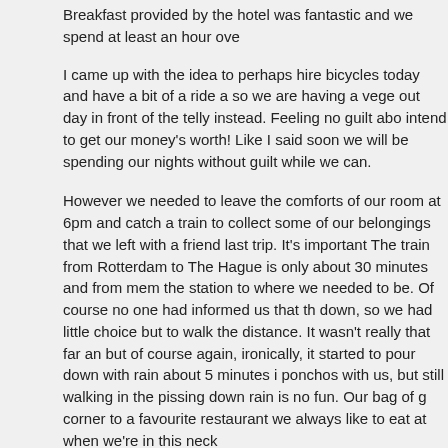Breakfast provided by the hotel was fantastic and we spend at least an hour ove
I came up with the idea to perhaps hire bicycles today and have a bit of a ride a so we are having a vege out day in front of the telly instead. Feeling no guilt abo intend to get our money's worth! Like I said soon we will be spending our nights without guilt while we can.
However we needed to leave the comforts of our room at 6pm and catch a train to collect some of our belongings that we left with a friend last trip. It's important The train from Rotterdam to The Hague is only about 30 minutes and from mem the station to where we needed to be. Of course no one had informed us that th down, so we had little choice but to walk the distance. It wasn't really that far an but of course again, ironically, it started to pour down with rain about 5 minutes i ponchos with us, but still walking in the pissing down rain is no fun. Our bag of g corner to a favourite restaurant we always like to eat at when we're in this neck
Seafood calzone was on the menu and we managed to dry off while having din of our walk back to the train station.
Back in our hotel room, it hit home that we really do have too much luggage for everything we have is really the bare minimum needed for the type of trip we are place I went online and purchased extra check in luggage weight for our flight to
A little exciting as the adventure will really start to take shape tomorrow.
Look out France - here we come.